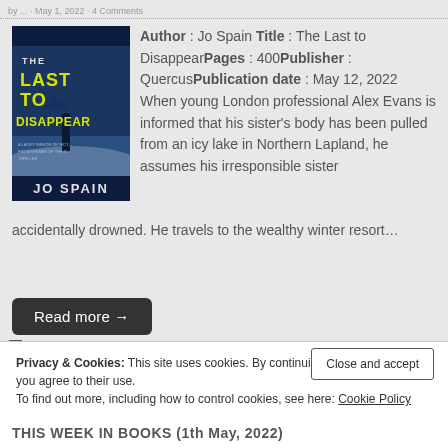by ... · May 1, 2022 · 4 Comments
[Figure (illustration): Book cover of 'The Last to Disappear' by Jo Spain. Dark blue background with a snowy scene and a figure. Title in yellow text, author name at bottom.]
Author : Jo Spain Title : The Last to DisappearPages : 400Publisher : QuercusPublication date : May 12, 2022 When young London professional Alex Evans is informed that his sister's body has been pulled from an icy lake in Northern Lapland, he assumes his irresponsible sister accidentally drowned. He travels to the wealthy winter resort…
Read more →
Privacy & Cookies: This site uses cookies. By continuing to use this website, you agree to their use.
To find out more, including how to control cookies, see here: Cookie Policy
Close and accept
THIS WEEK IN BOOKS (1th May, 2022)